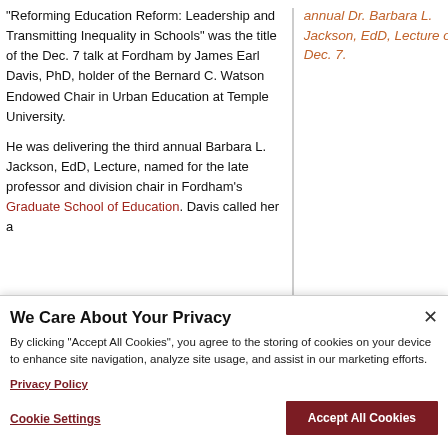“Reforming Education Reform: Leadership and Transmitting Inequality in Schools” was the title of the Dec. 7 talk at Fordham by James Earl Davis, PhD, holder of the Bernard C. Watson Endowed Chair in Urban Education at Temple University.
annual Dr. Barbara L. Jackson, EdD, Lecture on Dec. 7.
He was delivering the third annual Barbara L. Jackson, EdD, Lecture, named for the late professor and division chair in Fordham’s Graduate School of Education. Davis called her a
We Care About Your Privacy
By clicking “Accept All Cookies”, you agree to the storing of cookies on your device to enhance site navigation, analyze site usage, and assist in our marketing efforts.
Privacy Policy
Cookie Settings
Accept All Cookies